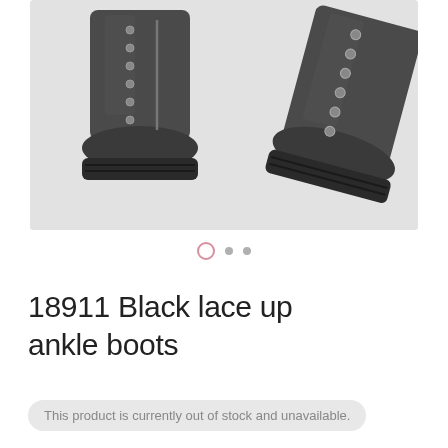[Figure (photo): Product photo of black lace-up ankle boots shown from a side/top angle. Two boots are displayed on a light grey background, showing chunky lug soles and silver eyelets with black laces.]
18911 Black lace up ankle boots
This product is currently out of stock and unavailable.